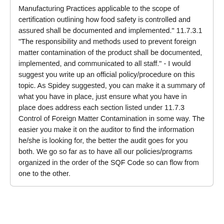Manufacturing Practices applicable to the scope of certification outlining how food safety is controlled and assured shall be documented and implemented."  11.7.3.1 "The responsibility and methods used to prevent foreign matter contamination of the product shall be documented, implemented, and communicated to all staff."  - I would suggest you write up an official policy/procedure on this topic.  As Spidey suggested, you can make it a summary of what you have in place, just ensure what you have in place does address each section listed under 11.7.3 Control of Foreign Matter Contamination in some way.  The easier you make it on the auditor to find the information he/she is looking for, the better the audit goes for you both.  We go so far as to have all our policies/programs organized in the order of the SQF Code so can flow from one to the other.
Wow, even the passages from the SQF modules, you're truly an expert! Thank you for the note.
[Figure (other): Two share buttons: 'Share' with Facebook icon and 'Share' with Twitter icon]
[Figure (other): Full Version button at the bottom of the page]